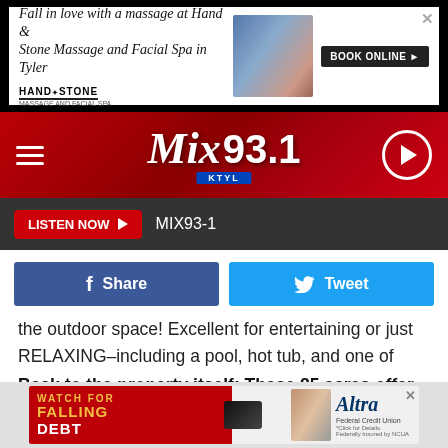[Figure (screenshot): Ad banner: Fall in love with a massage at Hand & Stone Massage and Facial Spa in Tyler. HAND*STONE. BOOK ONLINE button.]
[Figure (logo): Mix 93.1 KTYL radio station header with hamburger menu and play button]
[Figure (screenshot): LISTEN NOW button and MIX93-1 label on dark bar]
[Figure (screenshot): Facebook Share and Twitter Tweet social buttons]
the outdoor space! Excellent for entertaining or just RELAXING–including a pool, hot tub, and one of those outdoor kitchens so many long for.
Back to the property itself: These 85 acres offer two large ponds for your livestock and just for general beauty.
[Figure (screenshot): Bottom ad banner: WATCH FOR FALLING DEBT - Altra Federal Credit Union]